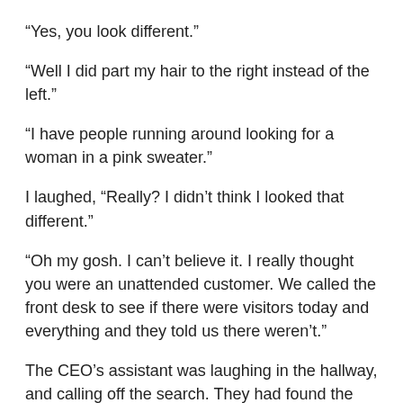“Yes, you look different.”
“Well I did part my hair to the right instead of the left.”
“I have people running around looking for a woman in a pink sweater.”
I laughed, “Really? I didn’t think I looked that different.”
“Oh my gosh. I can’t believe it. I really thought you were an unattended customer. We called the front desk to see if there were visitors today and everything and they told us there weren’t.”
The CEO’s assistant was laughing in the hallway, and calling off the search. They had found the corporate spy munching on bread and eating soup in her office. I was laughing so hard I was almost crying. The VP just looked